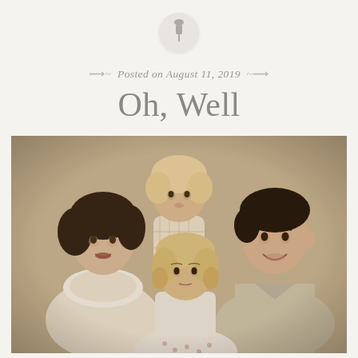[Figure (illustration): Small circular pin/thumbtack icon with a pushpin symbol, light gray circle with subtle drop shadow]
Posted on August 11, 2019
Oh, Well
[Figure (photo): Vintage black and white family portrait photograph from approximately the 1950s showing a mother on the left with dark curly hair wearing a white blouse, a toddler in the center background wearing a patterned dress, a father on the right with dark hair wearing a light shirt, and a young girl in front center wearing a white dress with floral trim]